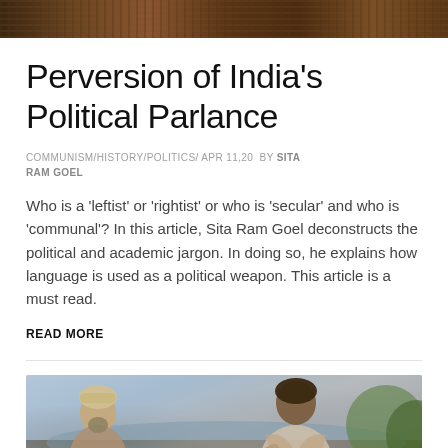[Figure (photo): Top banner image showing a crowd of people]
Perversion of India's Political Parlance
COMMUNISM/HISTORY/POLITICS/ APR 11,20 BY SITA RAM GOEL
Who is a 'leftist' or 'rightist' or who is 'secular' and who is 'communal'? In this article, Sita Ram Goel deconstructs the political and academic jargon. In doing so, he explains how language is used as a political weapon. This article is a must read.
READ MORE
[Figure (illustration): Painted illustration showing two figures in conversation, one wearing a turban and one with dark curly hair in robes, with a landscape background]